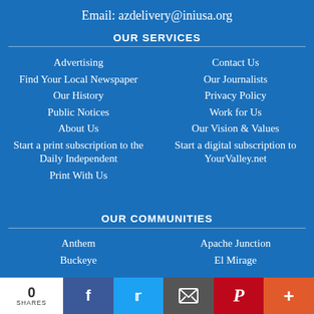Email: azdelivery@iniusa.org
OUR SERVICES
Advertising
Contact Us
Find Your Local Newspaper
Our Journalists
Our History
Privacy Policy
Public Notices
Work for Us
About Us
Our Vision & Values
Start a print subscription to the Daily Independent
Start a digital subscription to YourValley.net
Print With Us
OUR COMMUNITIES
Anthem
Apache Junction
Buckeye
El Mirage